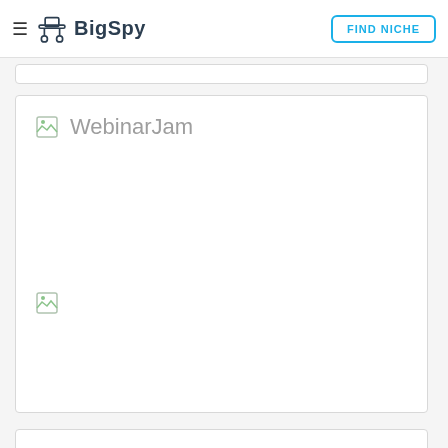BigSpy — FIND NICHE
[Figure (screenshot): BigSpy logo with hamburger menu icon on left and FIND NICHE button on right]
WebinarJam
[Figure (photo): Broken image placeholder icon inside a white card]
[Figure (screenshot): Partial bottom card visible at the edge of the page]